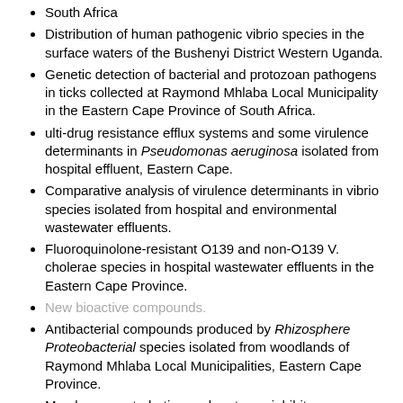South Africa
Distribution of human pathogenic vibrio species in the surface waters of the Bushenyi District Western Uganda.
Genetic detection of bacterial and protozoan pathogens in ticks collected at Raymond Mhlaba Local Municipality in the Eastern Cape Province of South Africa.
ulti-drug resistance efflux systems and some virulence determinants in Pseudomonas aeruginosa isolated from hospital effluent, Eastern Cape.
Comparative analysis of virulence determinants in vibrio species isolated from hospital and environmental wastewater effluents.
Fluoroquinolone-resistant O139 and non-O139 V. cholerae species in hospital wastewater effluents in the Eastern Cape Province.
New bioactive compounds.
Antibacterial compounds produced by Rhizosphere Proteobacterial species isolated from woodlands of Raymond Mhlaba Local Municipalities, Eastern Cape Province.
Membrane perturbation and protease inhibitory potentials of some antibacterial compounds produced by bacillus species.
Antibacterial compounds produced by actinobacteria species isolated from the woodlands of Raymond Mhlaba Municipality.
Exploration of some Actinobacteria for antimicrobial compounds against Klebsiella, Acinetobacter, Citrobacter and